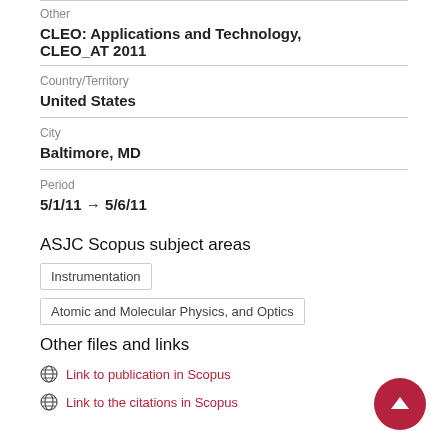Other
CLEO: Applications and Technology, CLEO_AT 2011
Country/Territory
United States
City
Baltimore, MD
Period
5/1/11 → 5/6/11
ASJC Scopus subject areas
Instrumentation
Atomic and Molecular Physics, and Optics
Other files and links
Link to publication in Scopus
Link to the citations in Scopus